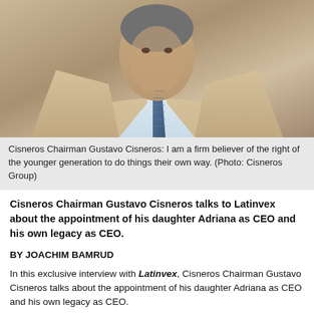[Figure (photo): Portrait photo of Cisneros Chairman Gustavo Cisneros wearing a beige/tan suit and blue tie against a beige background]
Cisneros Chairman Gustavo Cisneros: I am a firm believer of the right of the younger generation to do things their own way. (Photo: Cisneros Group)
Cisneros Chairman Gustavo Cisneros talks to Latinvex about the appointment of his daughter Adriana as CEO and his own legacy as CEO.
BY JOACHIM BAMRUD
In this exclusive interview with Latinvex, Cisneros Chairman Gustavo Cisneros talks about the appointment of his daughter Adriana as CEO and his own legacy as CEO.
Latinvex: The appointment of Adriana as CEO had been expected. Why